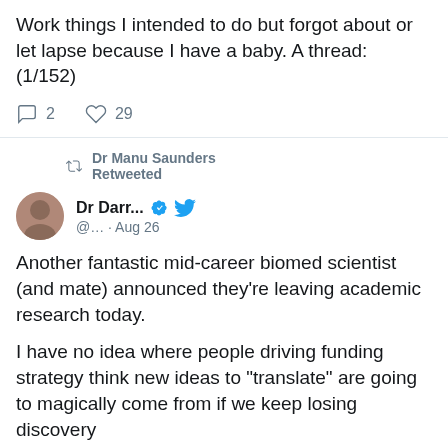Work things I intended to do but forgot about or let lapse because I have a baby. A thread: (1/152)
2 replies, 29 likes
Dr Manu Saunders Retweeted
Dr Darr... @... · Aug 26
Another fantastic mid-career biomed scientist (and mate) announced they're leaving academic research today.

I have no idea where people driving funding strategy think new ideas to "translate" are going to magically come from if we keep losing discovery